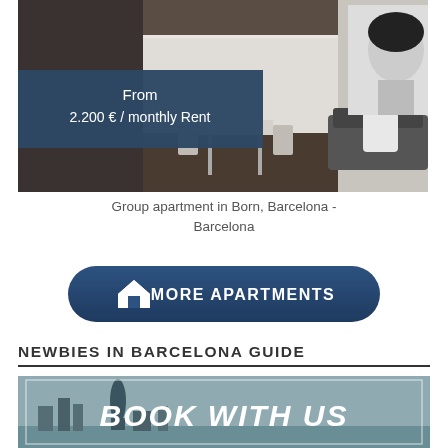[Figure (photo): Interior photo of a group apartment in Born, Barcelona, showing a long corridor-style room with dark wood flooring, white walls, a small dining table and chairs, a sofa, and a large Audrey Hepburn mural on the right wall. A semi-transparent dark blue overlay on the left shows pricing text.]
Group apartment in Born, Barcelona - Barcelona
[Figure (other): Dark navy rounded rectangle button with a white house/home icon and the text 'MORE APARTMENTS' in bold white capital letters.]
NEWBIES IN BARCELONA GUIDE
[Figure (photo): Partially visible promotional image with a Barcelona skyline (including Torre Agbar) and large bold italic white text reading 'BOOK WITH US'.]